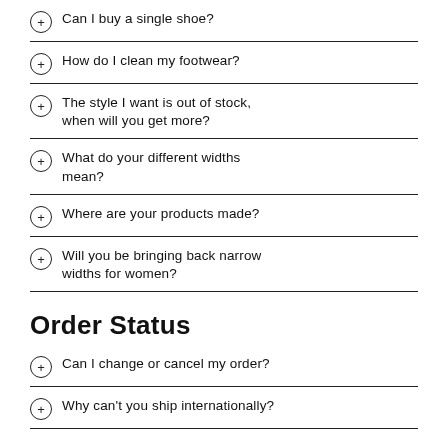Can I buy a single shoe?
How do I clean my footwear?
The style I want is out of stock, when will you get more?
What do your different widths mean?
Where are your products made?
Will you be bringing back narrow widths for women?
Order Status
Can I change or cancel my order?
Why can't you ship internationally?